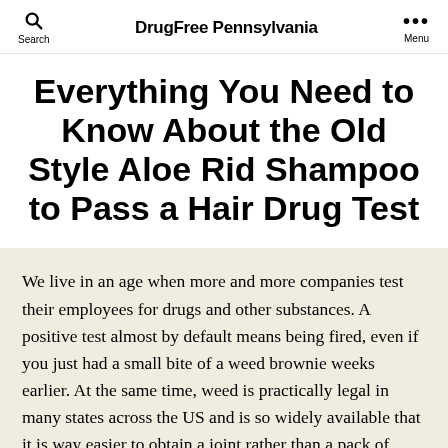DrugFree Pennsylvania
Everything You Need to Know About the Old Style Aloe Rid Shampoo to Pass a Hair Drug Test
We live in an age when more and more companies test their employees for drugs and other substances. A positive test almost by default means being fired, even if you just had a small bite of a weed brownie weeks earlier. At the same time, weed is practically legal in many states across the US and is so widely available that it is way easier to obtain a joint rather than a pack of